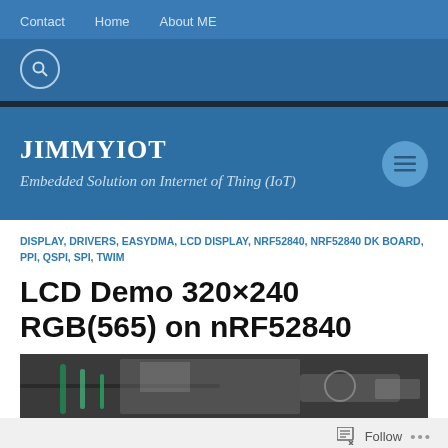Contact   Home   About ME
JIMMYIOT
Embedded Solution on Internet of Thing (IoT)
DISPLAY, DRIVERS, EASYDMA, LCD DISPLAY, NRF52840, NRF52840 DK BOARD, PPI, QSPI, SPI, TWIM
LCD Demo 320×240 RGB(565) on nRF52840
[Figure (photo): Photo of hardware setup with cables connected to a development board]
Follow ...